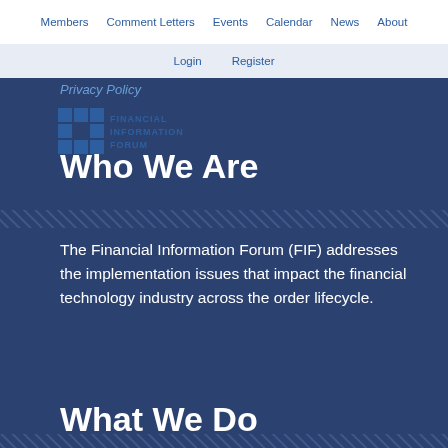Members  Comment Letters  Events  Calendar  News  About
Login  Register
Privacy Policy
[Figure (logo): Financial Information Forum (FIF) logo — stylized F letters in dark blue with text FINANCIAL INFORMATION FORUM]
Who We Are
The Financial Information Forum (FIF) addresses the implementation issues that impact the financial technology industry across the order lifecycle.
What We Do